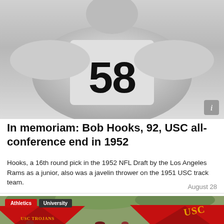[Figure (photo): Black and white photo of a football player wearing jersey number 58]
In memoriam: Bob Hooks, 92, USC all-conference end in 1952
Hooks, a 16th round pick in the 1952 NFL Draft by the Los Angeles Rams as a junior, also was a javelin thrower on the 1951 USC track team.
August 28
[Figure (photo): Color photo of USC Trojans red tents at what appears to be a tailgate or outdoor event, with trees in the background and people visible]